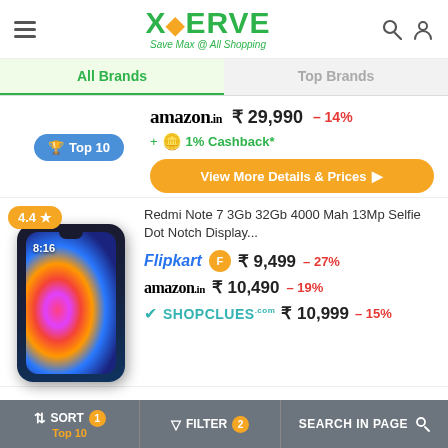XERVE - Save Max @ All Shopping
All Brands | Top Brands
amazon.in ₹ 29,990 – 14%
+ 1% Cashback*
View More Details & Prices
Top 10
4.4 ★
Redmi Note 7 3Gb 32Gb 4000 Mah 13Mp Selfie Dot Notch Display...
Flipkart ₹ 9,499 – 27%
amazon.in ₹ 10,490 – 19%
SHOPCLUES ₹ 10,999 – 15%
SORT Top 10 | FILTER 2 | SEARCH IN PAGE